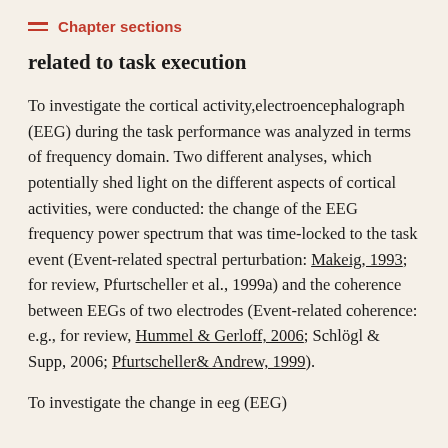Chapter sections
related to task execution
To investigate the cortical activity,electroencephalograph (EEG) during the task performance was analyzed in terms of frequency domain. Two different analyses, which potentially shed light on the different aspects of cortical activities, were conducted: the change of the EEG frequency power spectrum that was time-locked to the task event (Event-related spectral perturbation: Makeig, 1993; for review, Pfurtscheller et al., 1999a) and the coherence between EEGs of two electrodes (Event-related coherence: e.g., for review, Hummel & Gerloff, 2006; Schlögl & Supp, 2006; Pfurtscheller& Andrew, 1999).
To investigate the change in eeg (EEG)